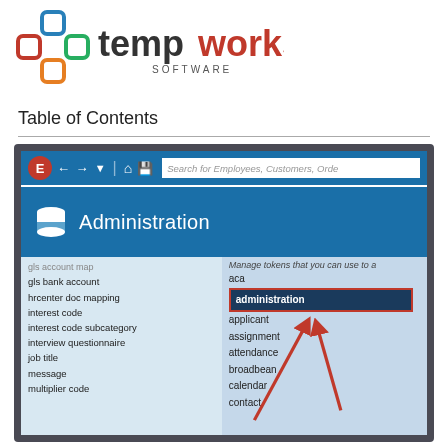[Figure (logo): TempWorks Software logo with colorful interconnected shapes and bold text]
Table of Contents
[Figure (screenshot): Screenshot of TempWorks software Administration module showing toolbar, Administration banner with database icon, and a menu with items including gls account map, gls bank account, hrcenter doc mapping, interest code, interest code subcategory, interview questionnaire, job title, message, multiplier code on the left; and aca, administration (highlighted), applicant, assignment, attendance, broadbean, calendar, contact on the right. Red arrows point to the 'administration' highlighted item.]